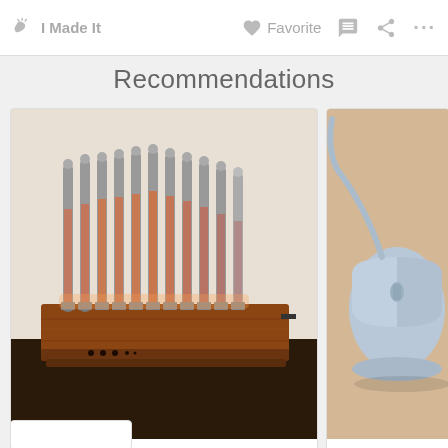I Made It   Favorite   ...
Recommendations
[Figure (photo): A steampunk-style spectrum analyzer device with glowing vacuum tube-like rods arranged on a wooden base, photographed on a dark surface.]
SPECTRUM ANALYZER WITH STEAMPUNK NIXIE LOOK by emdee401
[Figure (photo): A light blue/grey PC mouse on a beige/tan surface with a cable, partially visible.]
PC Mouse Becomes (MouseBot) by Ton